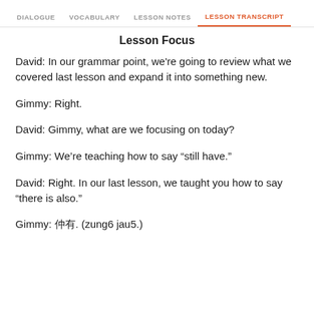DIALOGUE   VOCABULARY   LESSON NOTES   LESSON TRANSCRIPT
Lesson Focus
David: In our grammar point, we're going to review what we covered last lesson and expand it into something new.
Gimmy: Right.
David: Gimmy, what are we focusing on today?
Gimmy: We're teaching how to say “still have.”
David: Right. In our last lesson, we taught you how to say “there is also.”
Gimmy: 仲有. (zung6 jau5.)